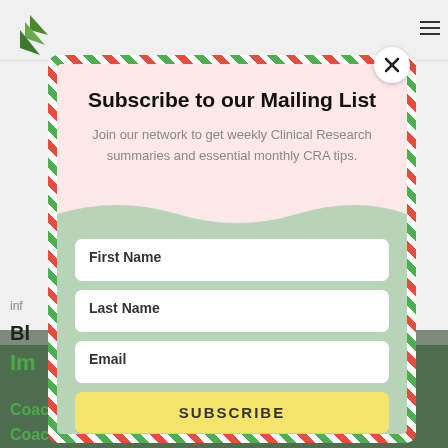[Figure (screenshot): Background page of a clinical research website partially visible behind a modal popup, showing navigation, blog content, and green text links]
Subscribe to our Mailing List
Join our network to get weekly Clinical Research summaries and essential monthly CRA tips.
First Name
Last Name
Email
SUBSCRIBE